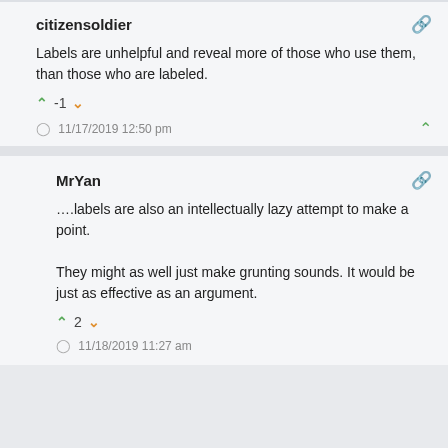citizensoldier
Labels are unhelpful and reveal more of those who use them, than those who are labeled.
-1
11/17/2019 12:50 pm
MrYan
….labels are also an intellectually lazy attempt to make a point.

They might as well just make grunting sounds. It would be just as effective as an argument.
2
11/18/2019 11:27 am